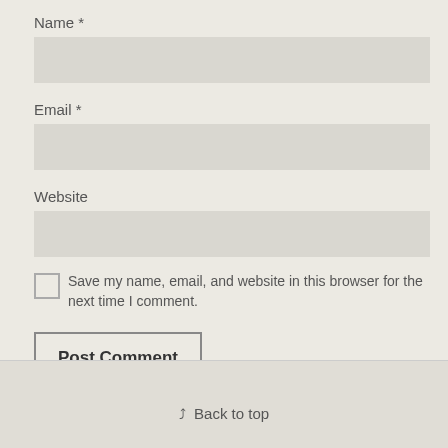Name *
Email *
Website
Save my name, email, and website in this browser for the next time I comment.
Post Comment
Back to top